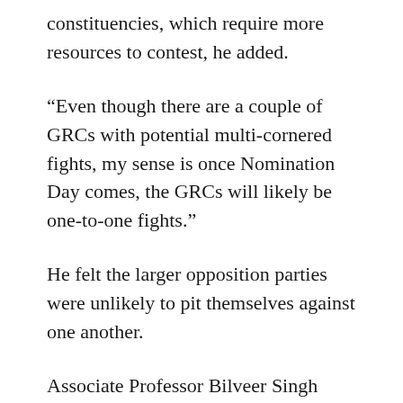constituencies, which require more resources to contest, he added.
“Even though there are a couple of GRCs with potential multi-cornered fights, my sense is once Nomination Day comes, the GRCs will likely be one-to-one fights.”
He felt the larger opposition parties were unlikely to pit themselves against one another.
Associate Professor Bilveer Singh from the National University of Singapore’s (NUS) political science department agreed that three-or even four-cornered fights are inevitable. He said: “The entrance of PSP onto the scene, as well as other